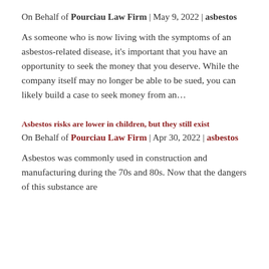On Behalf of Pourciau Law Firm | May 9, 2022 | asbestos
As someone who is now living with the symptoms of an asbestos-related disease, it's important that you have an opportunity to seek the money that you deserve. While the company itself may no longer be able to be sued, you can likely build a case to seek money from an…
Asbestos risks are lower in children, but they still exist
On Behalf of Pourciau Law Firm | Apr 30, 2022 | asbestos
Asbestos was commonly used in construction and manufacturing during the 70s and 80s. Now that the dangers of this substance are